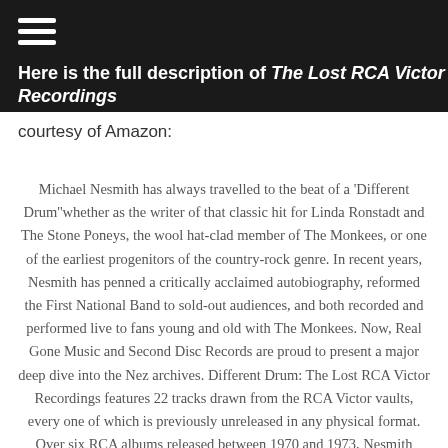Here is the full description of The Lost RCA Victor Recordings courtesy of Amazon:
Michael Nesmith has always travelled to the beat of a 'Different Drum''whether as the writer of that classic hit for Linda Ronstadt and The Stone Poneys, the wool hat-clad member of The Monkees, or one of the earliest progenitors of the country-rock genre. In recent years, Nesmith has penned a critically acclaimed autobiography, reformed the First National Band to sold-out audiences, and both recorded and performed live to fans young and old with The Monkees. Now, Real Gone Music and Second Disc Records are proud to present a major deep dive into the Nez archives. Different Drum: The Lost RCA Victor Recordings features 22 tracks drawn from the RCA Victor vaults, every one of which is previously unreleased in any physical format. Over six RCA albums released between 1970 and 1973, Nesmith blossomed as a singer, songwriter,